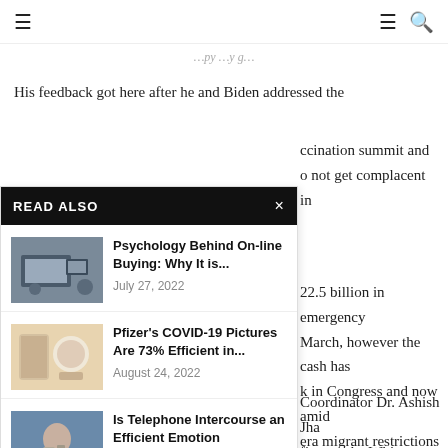≡  ≡ 🔍
His feedback got here after he and Biden addressed the ... ccination summit and ...o not get complacent in
READ ALSO
[Figure (photo): Person using laptop with tablet]
Psychology Behind On-line Buying: Why It is...
July 27, 2022
[Figure (photo): Pfizer COVID-19 pills/medication]
Pfizer's COVID-19 Pictures Are 73% Efficient in...
August 24, 2022
[Figure (photo): Person sitting outdoors looking distressed]
Is Telephone Intercourse an Efficient Emotion Regulation...
July 5, 2022
22.5 billion in emergency ...March, however the cash has ...k in Congress and now amid ...era migrant restrictions on
Coordinator Dr. Ashish Jha ...fing on the White Home in